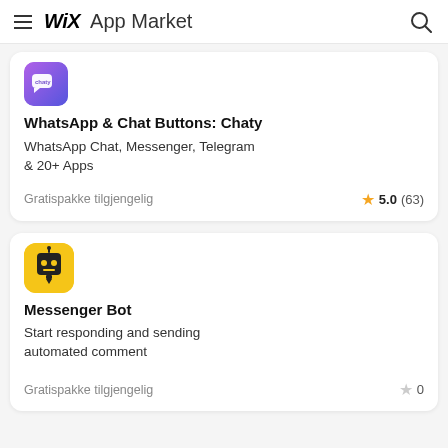WiX App Market
[Figure (illustration): Chaty app logo - purple/indigo gradient with chat icon and 'chaty' text]
WhatsApp & Chat Buttons: Chaty
WhatsApp Chat, Messenger, Telegram & 20+ Apps
Gratispakke tilgjengelig
5.0 (63)
[Figure (illustration): Messenger Bot app logo - yellow square with robot face icon]
Messenger Bot
Start responding and sending automated comment
Gratispakke tilgjengelig
0